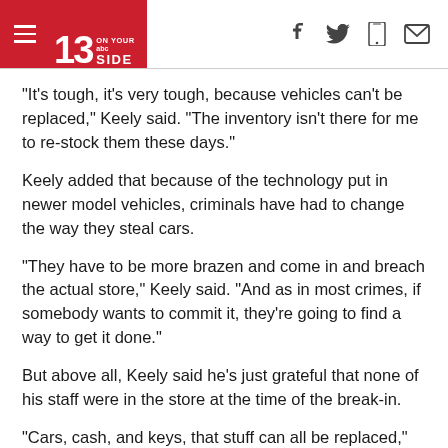13 ON YOUR SIDE (abc) — navigation header with social icons
"It's tough, it's very tough, because vehicles can't be replaced," Keely said. "The inventory isn't there for me to re-stock them these days."
Keely added that because of the technology put in newer model vehicles, criminals have had to change the way they steal cars.
"They have to be more brazen and come in and breach the actual store," Keely said. "And as in most crimes, if somebody wants to commit it, they're going to find a way to get it done."
But above all, Keely said he's just grateful that none of his staff were in the store at the time of the break-in.
"Cars, cash, and keys, that stuff can all be replaced," Keely said, "it's customer data and people that are the hard things to replace so luckily we don't have to worry about that."